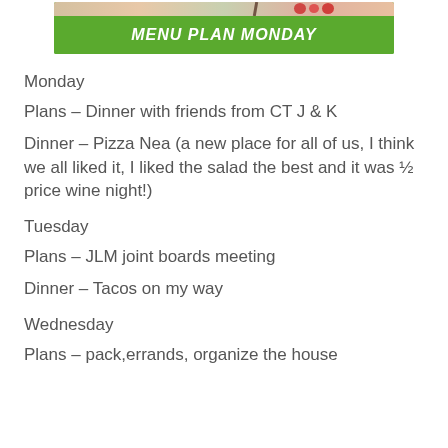[Figure (illustration): Menu Plan Monday banner image with green background and white decorative text reading MENU PLaN Monday, with food items visible at top]
Monday
Plans – Dinner with friends from CT J & K
Dinner – Pizza Nea (a new place for all of us, I think we all liked it, I liked the salad the best and it was ½ price wine night!)
Tuesday
Plans – JLM joint boards meeting
Dinner – Tacos on my way
Wednesday
Plans – pack,errands, organize the house